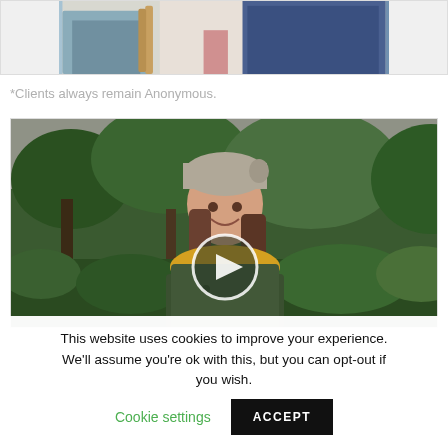[Figure (photo): Partial view of two people sitting, one wearing a blue jacket, cropped at the top of the page]
*Clients always remain Anonymous.
[Figure (photo): Woman smiling outdoors wearing a grey knit hat, yellow scarf, and dark green jacket, surrounded by green foliage and trees. A circular play button overlay is centered on the image.]
This website uses cookies to improve your experience. We'll assume you're ok with this, but you can opt-out if you wish. Cookie settings ACCEPT